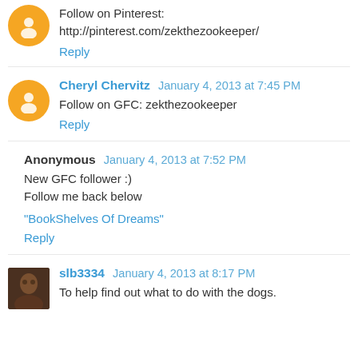Follow on Pinterest: http://pinterest.com/zekthezookeeper/
Reply
Cheryl Chervitz January 4, 2013 at 7:45 PM
Follow on GFC: zekthezookeeper
Reply
Anonymous January 4, 2013 at 7:52 PM
New GFC follower :)
Follow me back below
"BookShelves Of Dreams"
Reply
slb3334 January 4, 2013 at 8:17 PM
To help find out what to do with the dogs.